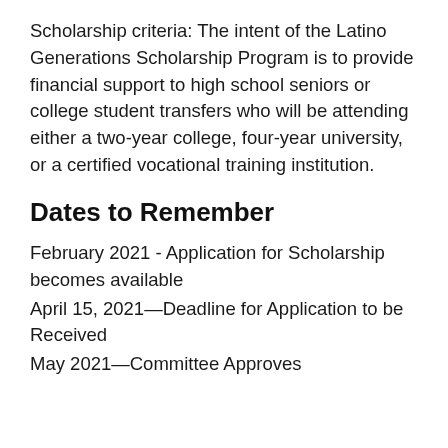Scholarship criteria: The intent of the Latino Generations Scholarship Program is to provide financial support to high school seniors or college student transfers who will be attending either a two-year college, four-year university, or a certified vocational training institution.
Dates to Remember
February 2021 - Application for Scholarship becomes available
April 15, 2021—Deadline for Application to be Received
May 2021—Committee Approves